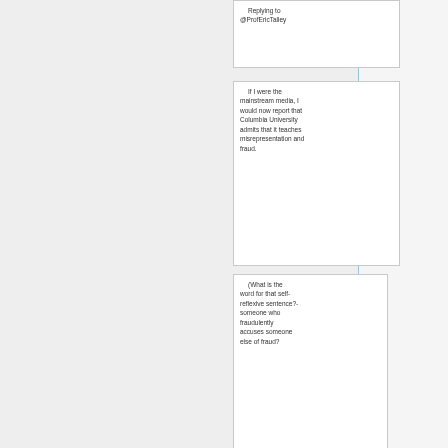Replying to
@ProfEricTalley
If I were the mainstream media, I would now report that Columbia University admits that it teaches misrepresentation and fraud.
(What is the word for that self-reflexive sentence?- someone who fraudulently accuses someone else of fraud?